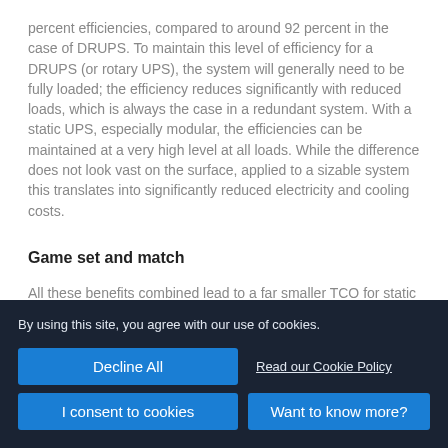percent efficiencies, compared to around 92 percent in the case of DRUPS. To maintain this level of efficiency for a DRUPS (or rotary UPS), the system will generally need to be fully loaded; the efficiency reduces significantly with reduced loads, which is always the case in a redundant system. With a static UPS, especially modular, the efficiencies can be maintained at a very high level at all loads. While the difference does not look vast on the surface, applied to a sizable system this translates into significantly reduced electricity and cooling costs.
Game set and match
All these benefits combined lead to a far smaller TCO for static
By using this site, you agree with our use of cookies.
Decline All
Read our Cookie Policy
I consent to cookies
Want to know more?